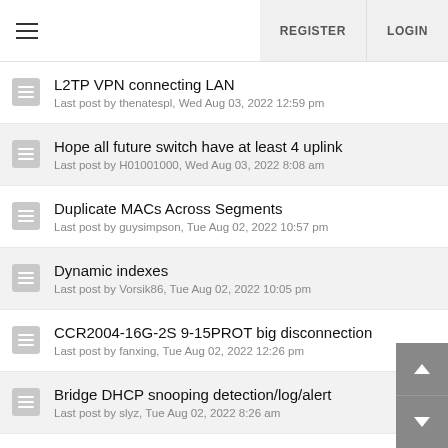REGISTER  LOGIN
L2TP VPN connecting LAN
Last post by thenatespl, Wed Aug 03, 2022 12:59 pm
Hope all future switch have at least 4 uplink
Last post by H01001000, Wed Aug 03, 2022 8:08 am
Duplicate MACs Across Segments
Last post by guysimpson, Tue Aug 02, 2022 10:57 pm
Dynamic indexes
Last post by Vorsik86, Tue Aug 02, 2022 10:05 pm
CCR2004-16G-2S 9-15PROT big disconnection
Last post by fanxing, Tue Aug 02, 2022 12:26 pm
Bridge DHCP snooping detection/log/alert
Last post by slyz, Tue Aug 02, 2022 8:26 am